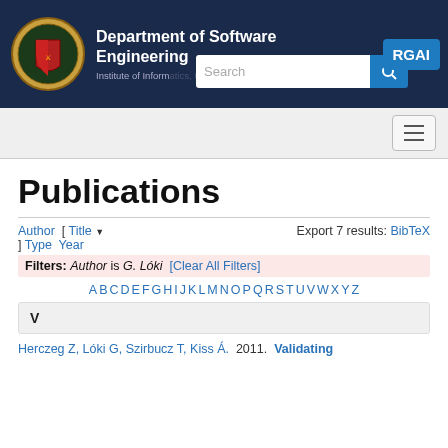Department of Software Engineering – RGAI, Institute of Informatics, University of Szeged
Publications
Author [ Title ▼ ] Type Year   Export 7 results: BibTeX
Filters: Author is G. Lóki [Clear All Filters]
A B C D E F G H I J K L M N O P Q R S T U V W X Y Z
V
Herczeg Z, Lóki G, Szirbucz T, Kiss Á.  2011.  Validating